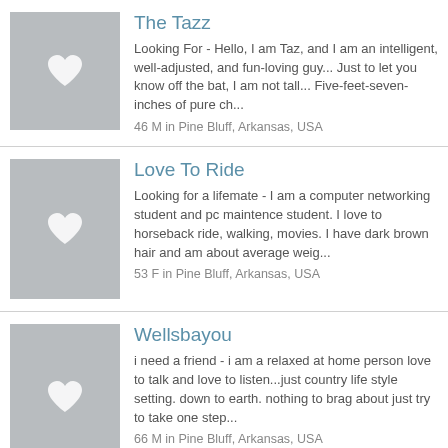The Tazz
Looking For - Hello, I am Taz, and I am an intelligent, well-adjusted, and fun-loving guy... Just to let you know off the bat, I am not tall... Five-feet-seven-inches of pure ch...
46 M in Pine Bluff, Arkansas, USA
Love To Ride
Looking for a lifemate - I am a computer networking student and pc maintence student. I love to horseback ride, walking, movies. I have dark brown hair and am about average weig...
53 F in Pine Bluff, Arkansas, USA
Wellsbayou
i need a friend - i am a relaxed at home person love to talk and love to listen...just country life style setting. down to earth. nothing to brag about just try to take one step...
66 M in Pine Bluff, Arkansas, USA